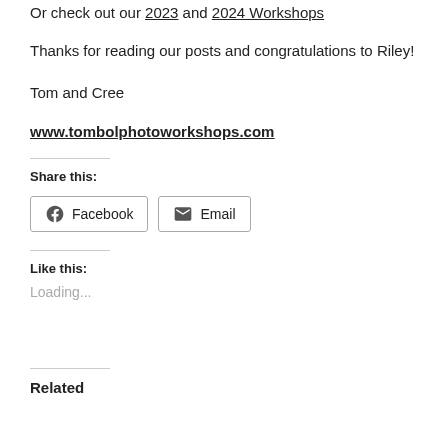Or check out our 2023 and 2024 Workshops
Thanks for reading our posts and congratulations to Riley!
Tom and Cree
www.tombolphotoworkshops.com
Share this:
Facebook Email
Like this:
Loading...
Related